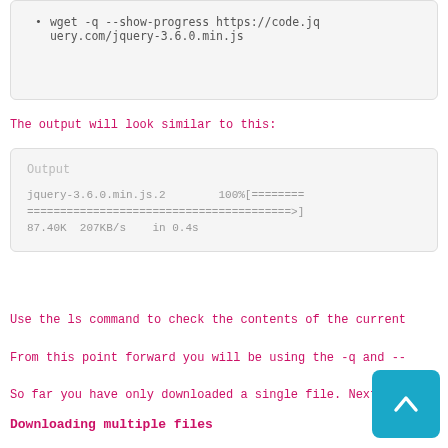wget -q --show-progress https://code.jquery.com/jquery-3.6.0.min.js
The output will look similar to this:
[Figure (screenshot): Terminal output box showing: Output label, then 'jquery-3.6.0.min.js.2        100%[========================================>]  87.40K  207KB/s    in 0.4s']
Use the ls command to check the contents of the current
From this point forward you will be using the -q and --
So far you have only downloaded a single file. Next, yo
Downloading multiple files
In order to download multiples files using Wge    ne